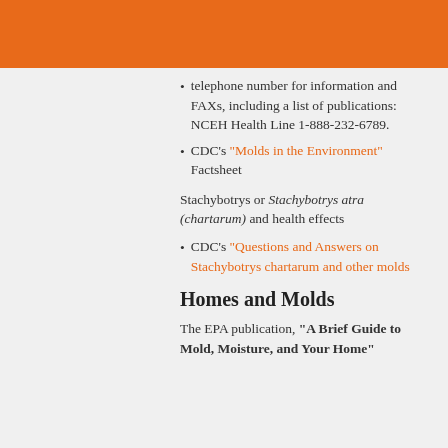telephone number for information and FAXs, including a list of publications: NCEH Health Line 1-888-232-6789.
CDC's "Molds in the Environment" Factsheet
Stachybotrys or Stachybotrys atra (chartarum) and health effects
CDC's "Questions and Answers on Stachybotrys chartarum and other molds
Homes and Molds
The EPA publication, "A Brief Guide to Mold, Moisture, and Your Home"